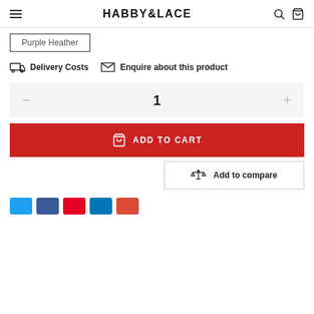HABBY&LACE
Purple Heather
Delivery Costs   Enquire about this product
1
ADD TO CART
Add to compare